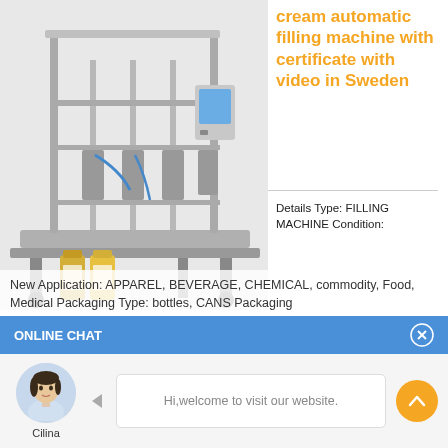[Figure (photo): Industrial cream automatic filling machine with multiple nozzles and stainless steel frame, with juice bottles in foreground]
cream automatic filling machine with certificate with video in Sweden
Details Type: FILLING MACHINE Condition: New Application: APPAREL, BEVERAGE, CHEMICAL, commodity, Food, Medical Packaging Type: bottles, CANS Packaging
New Application: APPAREL, BEVERAGE, CHEMICAL, commodity, Food, Medical Packaging Type: bottles, CANS Packaging
ONLINE CHAT
[Figure (photo): Chat avatar photo of a woman named Cilina]
Cilina
Hi,welcome to visit our website.